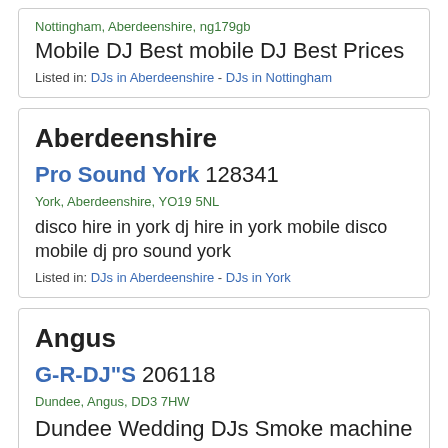Nottingham, Aberdeenshire, ng179gb
Mobile DJ Best mobile DJ Best Prices
Listed in: DJs in Aberdeenshire - DJs in Nottingham
Aberdeenshire
Pro Sound York 128341
York, Aberdeenshire, YO19 5NL
disco hire in york dj hire in york mobile disco mobile dj pro sound york
Listed in: DJs in Aberdeenshire - DJs in York
Angus
G-R-DJ"S 206118
Dundee, Angus, DD3 7HW
Dundee Wedding DJs Smoke machine